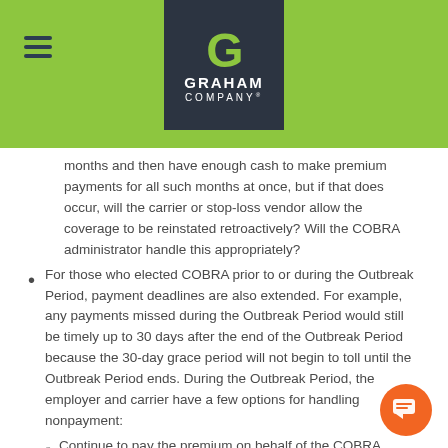Graham Company
months and then have enough cash to make premium payments for all such months at once, but if that does occur, will the carrier or stop-loss vendor allow the coverage to be reinstated retroactively? Will the COBRA administrator handle this appropriately?
For those who elected COBRA prior to or during the Outbreak Period, payment deadlines are also extended. For example, any payments missed during the Outbreak Period would still be timely up to 30 days after the end of the Outbreak Period because the 30-day grace period will not begin to toll until the Outbreak Period ends. During the Outbreak Period, the employer and carrier have a few options for handling nonpayment:
Continue to pay the premium on behalf of the COBRA participant and then terminate